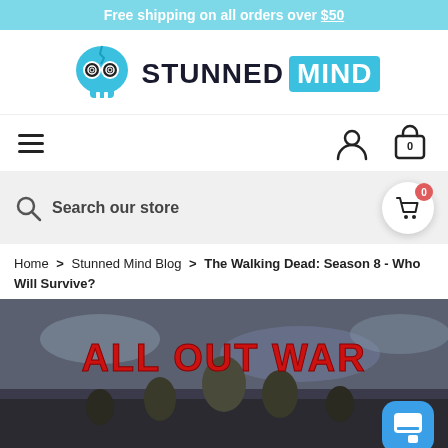Free shipping on all orders over $50
[Figure (logo): Stunned Mind logo with blue skull wearing glasses and text STUNNED MIND]
[Figure (other): Navigation bar with hamburger menu, user icon, and cart icon showing 0]
[Figure (other): Search bar with magnifying glass icon and text 'Search our store', with cart button showing 0]
Home > Stunned Mind Blog > The Walking Dead: Season 8 - Who Will Survive?
[Figure (photo): The Walking Dead Season 8 All Out War promotional image with characters and red text 'ALL OUT WAR']